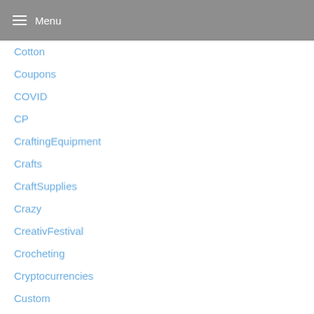Menu
Cotton
Coupons
COVID
CP
CraftingEquipment
Crafts
CraftSupplies
Crazy
CreativFestival
Crocheting
Cryptocurrencies
Custom
CustomerQuilt
CycleFabric
D
DapperDan
Darks